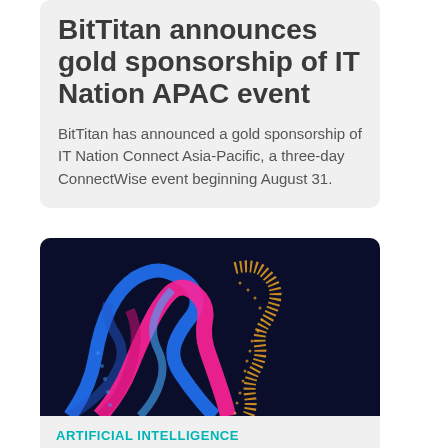BitTitan announces gold sponsorship of IT Nation APAC event
BitTitan has announced a gold sponsorship of IT Nation Connect Asia-Pacific, a three-day ConnectWise event beginning August 31.
[Figure (illustration): Digital AI head illustration with colorful pink, blue, and orange wave patterns forming a human profile silhouette on a dark navy background]
ARTIFICIAL INTELLIGENCE
AI and metaverse to take centre